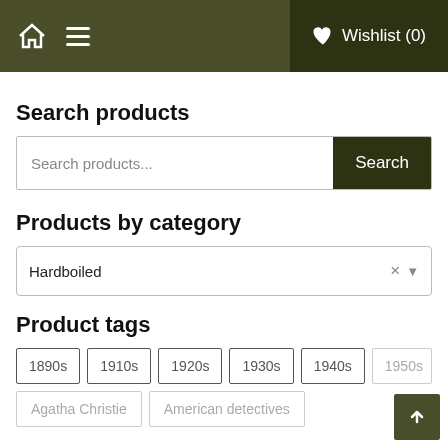Home | Menu | Wishlist (0)
Search products
Search products...
Products by category
Hardboiled
Product tags
1890s
1910s
1920s
1930s
1940s
1950s
Agatha Christie
American detectives